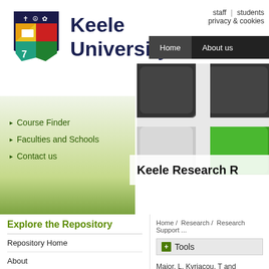[Figure (logo): Keele University shield/crest logo with colorful quarters and symbols]
Keele
University
staff | students
privacy & cookies
Home   About us
[Figure (photo): Close-up photo of keyboard keys including a green key, silver/black style]
Course Finder
Faculties and Schools
Contact us
Keele Research R...
Explore the Repository
Repository Home
About
Browse
Home / Research / Research Support ...
Tools
Major, L, Kyriacou, T and Breret... Software, 6 (6). pp. 502-513.